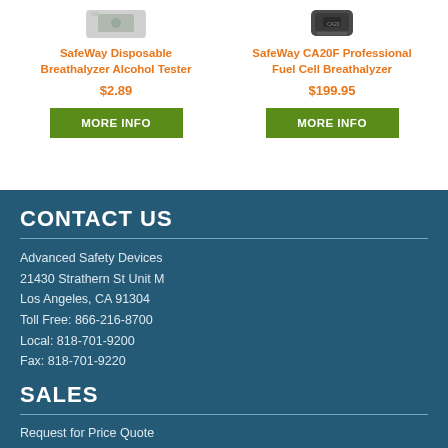SafeWay Disposable Breathalyzer Alcohol Tester
$2.89
MORE INFO
SafeWay CA20F Professional Fuel Cell Breathalyzer
$199.95
MORE INFO
CONTACT US
Advanced Safety Devices
21430 Strathern St Unit M
Los Angeles, CA 91304
Toll Free: 866-216-8700
Local: 818-701-9200
Fax: 818-701-9220
SALES
Request for Price Quote
Credit Application